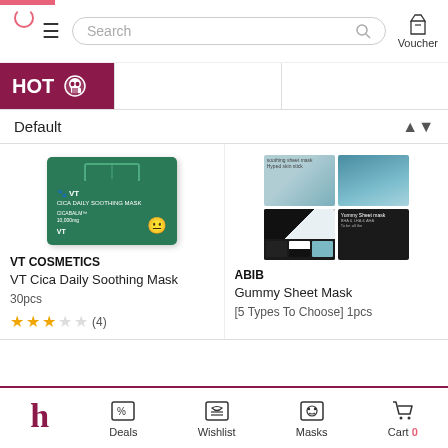Search | Voucher
[Figure (screenshot): HOT banner with skull icon]
Default
[Figure (photo): VT Cosmetics green box product photo]
VT COSMETICS
VT Cica Daily Soothing Mask
30pcs
★★★☆☆ (4)
[Figure (photo): ABIB Gummy Sheet Mask product photos grid]
ABIB
Gummy Sheet Mask
[5 Types To Choose] 1pcs
Deals | Wishlist | Masks | Cart 0